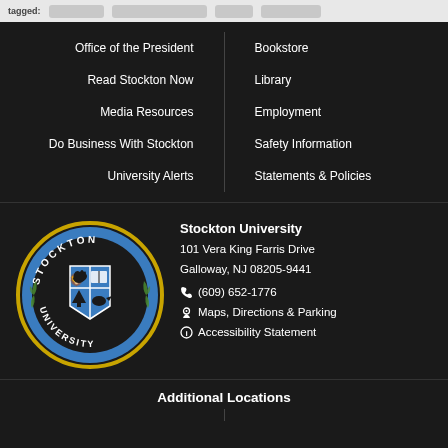Office of the President
Read Stockton Now
Media Resources
Do Business With Stockton
University Alerts
Bookstore
Library
Employment
Safety Information
Statements & Policies
[Figure (logo): Stockton University circular seal with blue and black shield, lion, book, pine tree, bird, and laurel wreath. Gold ring border with text STOCKTON UNIVERSITY.]
Stockton University
101 Vera King Farris Drive
Galloway, NJ 08205-9441
(609) 652-1776
Maps, Directions & Parking
Accessibility Statement
Additional Locations